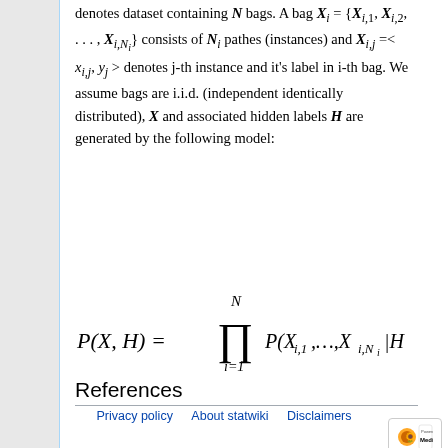denotes dataset containing N bags. A bag X_{i} = {X_{i,1}, X_{i,2}, ..., X_{i,N_i}} consists of N_i pathes (instances) and X_{i,j} =< x_{i,j}, y_j > denotes j-th instance and it's label in i-th bag. We assume bags are i.i.d. (independent identically distributed), X and associated hidden labels H are generated by the following model:
References
Privacy policy · About statwiki · Disclaimers